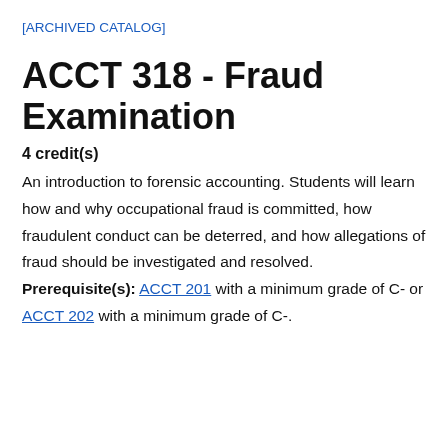[ARCHIVED CATALOG]
ACCT 318 - Fraud Examination
4 credit(s)
An introduction to forensic accounting. Students will learn how and why occupational fraud is committed, how fraudulent conduct can be deterred, and how allegations of fraud should be investigated and resolved.
Prerequisite(s): ACCT 201 with a minimum grade of C- or ACCT 202 with a minimum grade of C-.